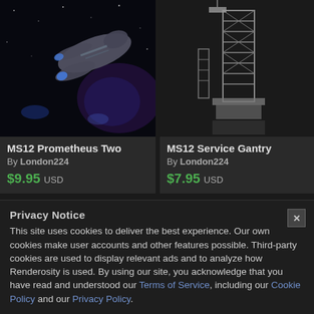[Figure (photo): 3D render of a sci-fi spaceship called MS12 Prometheus Two against a starfield background]
MS12 Prometheus Two
By London224
$9.95 USD
[Figure (photo): 3D render of a sci-fi service gantry structure called MS12 Service Gantry on dark background]
MS12 Service Gantry
By London224
$7.95 USD
Privacy Notice
This site uses cookies to deliver the best experience. Our own cookies make user accounts and other features possible. Third-party cookies are used to display relevant ads and to analyze how Renderosity is used. By using our site, you acknowledge that you have read and understood our Terms of Service, including our Cookie Policy and our Privacy Policy.